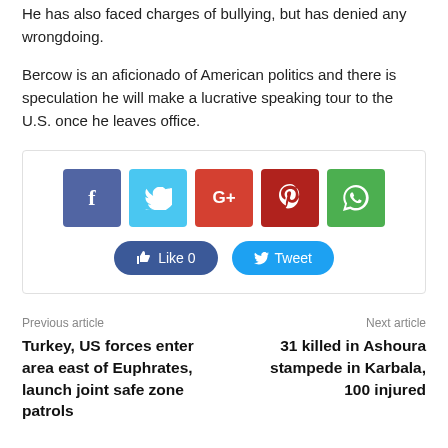He has also faced charges of bullying, but has denied any wrongdoing.
Bercow is an aficionado of American politics and there is speculation he will make a lucrative speaking tour to the U.S. once he leaves office.
[Figure (infographic): Social media share buttons: Facebook, Twitter, Google+, Pinterest, WhatsApp icons, plus Like 0 and Tweet buttons]
Previous article
Turkey, US forces enter area east of Euphrates, launch joint safe zone patrols
Next article
31 killed in Ashoura stampede in Karbala, 100 injured